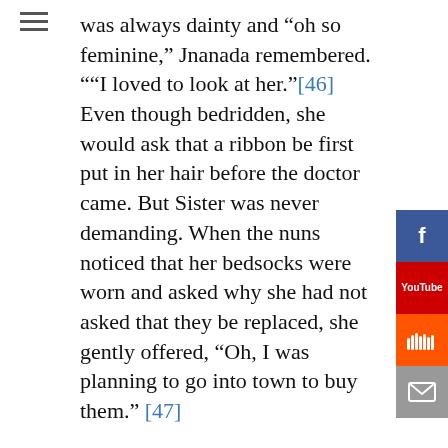was always dainty and “oh so feminine,” Jnanada remembered. “”I loved to look at her.”[46] Even though bedridden, she would ask that a ribbon be first put in her hair before the doctor came. But Sister was never demanding. When the nuns noticed that her bedsocks were worn and asked why she had not asked that they be replaced, she gently offered, “Oh, I was planning to go into town to buy them.” [47]
Prabhaprana noticed that as the end approached, Sister “was detaching herself and withdrawing into another world.”[48] Another nun also observed, “You could feel during those last days that Swamiji was with her. She would sometimes gesture as if